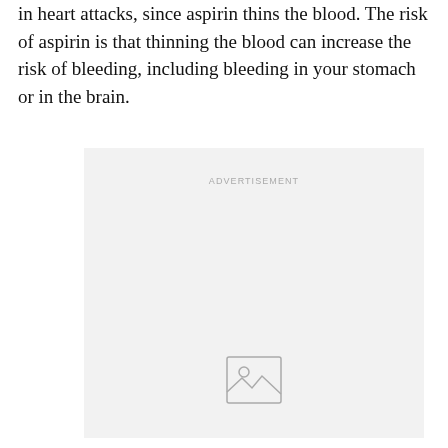in heart attacks, since aspirin thins the blood. The risk of aspirin is that thinning the blood can increase the risk of bleeding, including bleeding in your stomach or in the brain.
[Figure (other): Advertisement placeholder box with 'ADVERTISEMENT' label and a generic image placeholder icon at the bottom center.]